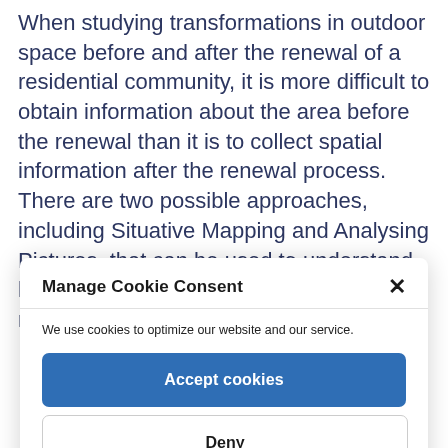When studying transformations in outdoor space before and after the renewal of a residential community, it is more difficult to obtain information about the area before the renewal than it is to collect spatial information after the renewal process. There are two possible approaches, including Situative Mapping and Analysing Pictures, that can be used to understand how the community was before the renewal process. Situative Mapping
Manage Cookie Consent
We use cookies to optimize our website and our service.
Accept cookies
Deny